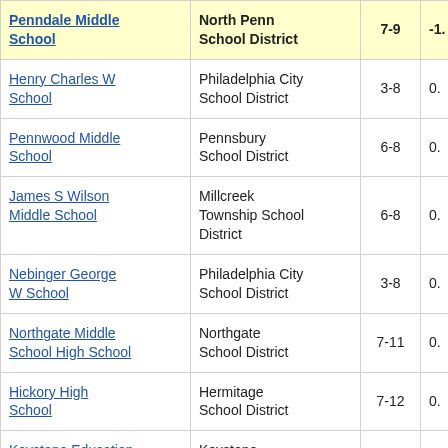| School | District | Grades |  |
| --- | --- | --- | --- |
| Penndale Middle School | North Penn School District | 7-9 | -1. |
| Henry Charles W School | Philadelphia City School District | 3-8 | 0. |
| Pennwood Middle School | Pennsbury School District | 6-8 | 0. |
| James S Wilson Middle School | Millcreek Township School District | 6-8 | 0. |
| Nebinger George W School | Philadelphia City School District | 3-8 | 0. |
| Northgate Middle School High School | Northgate School District | 7-11 | 0. |
| Hickory High School | Hermitage School District | 7-12 | 0. |
| Keystone Education Center Charter School | Keystone Education Center Charter School | 3-12 | 0. |